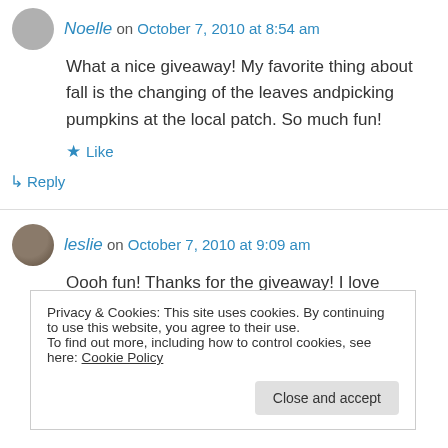Noelle on October 7, 2010 at 8:54 am
What a nice giveaway! My favorite thing about fall is the changing of the leaves andpicking pumpkins at the local patch. So much fun!
Like
Reply
leslie on October 7, 2010 at 9:09 am
Oooh fun! Thanks for the giveaway! I love
Privacy & Cookies: This site uses cookies. By continuing to use this website, you agree to their use.
To find out more, including how to control cookies, see here: Cookie Policy
Close and accept